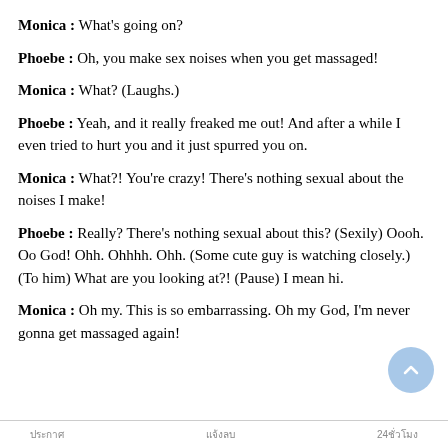Monica : What's going on?
Phoebe : Oh, you make sex noises when you get massaged!
Monica : What? (Laughs.)
Phoebe : Yeah, and it really freaked me out! And after a while I even tried to hurt you and it just spurred you on.
Monica : What?! You're crazy! There's nothing sexual about the noises I make!
Phoebe : Really? There's nothing sexual about this? (Sexily) Oooh. Oo God! Ohh. Ohhhh. Ohh. (Some cute guy is watching closely.) (To him) What are you looking at?! (Pause) I mean hi.
Monica : Oh my. This is so embarrassing. Oh my God, I'm never gonna get massaged again!
ประกาศ   แจ้งลบ   24ชั่วโมง